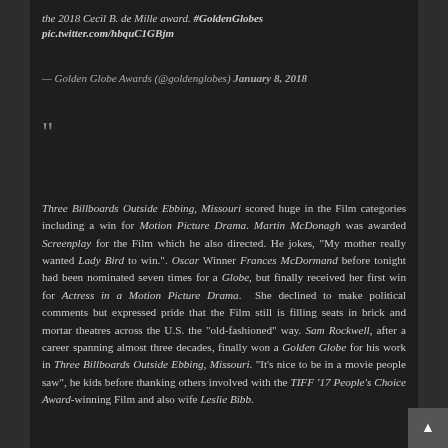the 2018 Cecil B. de Mille award. #GoldenGlobes pic.twitter.com/hbquC1GBjm
— Golden Globe Awards (@goldenglobes) January 8, 2018
”
Three Billboards Outside Ebbing, Missouri scored huge in the Film categories including a win for Motion Picture Drama. Martin McDonagh was awarded Screenplay for the Film which he also directed. He jokes, “My mother really wanted Lady Bird to win.”. Oscar Winner Frances McDormand before tonight had been nominated seven times for a Globe, but finally received her first win for Actress in a Motion Picture Drama.  She declined to make political comments but expressed pride that the Film still is filling seats in brick and mortar theatres across the U.S. the “old-fashioned” way. Sam Rockwell, after a career spanning almost three decades, finally won a Golden Globe for his work in Three Billboards Outside Ebbing, Missouri. “It’s nice to be in a movie people saw”, he kids before thanking others involved with the TIFF ’17 People’s Choice Award-winning Film and also wife Leslie Bibb.